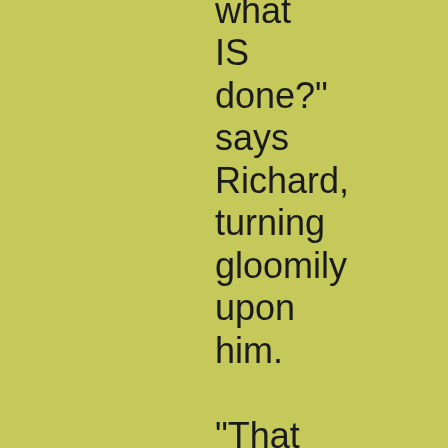what IS done?" says Richard, turning gloomily upon him.

"That may not be the whole question," returns Vholes, "The